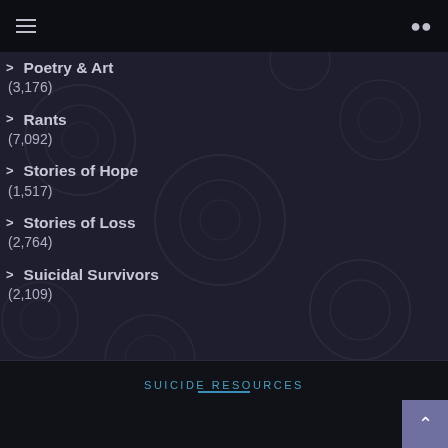Navigation bar with hamburger menu and search icon
> Poetry & Art
(3,176)
> Rants
(7,092)
> Stories of Hope
(1,517)
> Stories of Loss
(2,764)
> Suicidal Survivors
(2,109)
SUICIDE RESOURCES